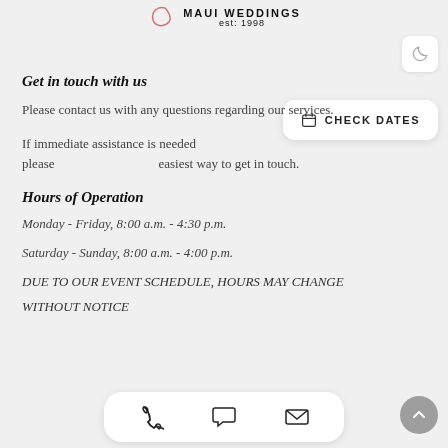MAUI WEDDINGS est: 1998
Get in touch with us
Please contact us with any questions regarding our services.
If immediate assistance is needed please easiest way to get in touch.
Hours of Operation
Monday - Friday, 8:00 a.m. - 4:30 p.m.
Saturday - Sunday, 8:00 a.m. - 4:00 p.m.
DUE TO OUR EVENT SCHEDULE, HOURS MAY CHANGE WITHOUT NOTICE
[Figure (infographic): Bottom action bar with phone, chat bubble, and email icons; scroll-to-top circular button on right; CHECK DATES button and dark mode toggle icon]